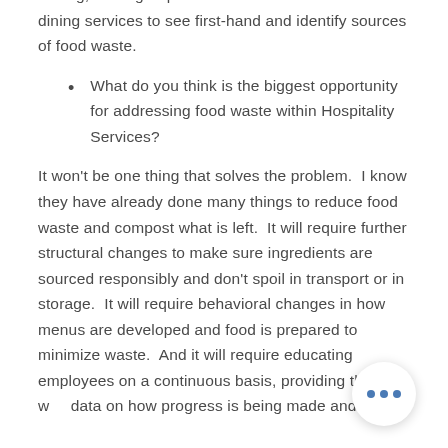testing, small group discussion and tours of the dining services to see first-hand and identify sources of food waste.
What do you think is the biggest opportunity for addressing food waste within Hospitality Services?
It won't be one thing that solves the problem.  I know they have already done many things to reduce food waste and compost what is left.  It will require further structural changes to make sure ingredients are sourced responsibly and don't spoil in transport or in storage.  It will require behavioral changes in how menus are developed and food is prepared to minimize waste.  And it will require educating employees on a continuous basis, providing them with data on how progress is being made and